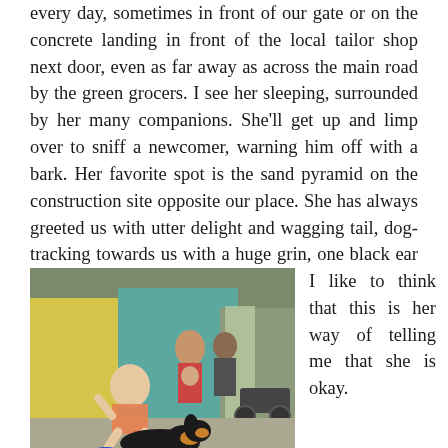every day, sometimes in front of our gate or on the concrete landing in front of the local tailor shop next door, even as far away as across the main road by the green grocers. I see her sleeping, surrounded by her many companions. She'll get up and limp over to sniff a newcomer, warning him off with a bark. Her favorite spot is the sand pyramid on the construction site opposite our place. She has always greeted us with utter delight and wagging tail, dog-tracking towards us with a huge grin, one black ear perked, the other flopping.
[Figure (photo): A young boy crouching down next to a black and tan dog lying on a concrete ground. In the background, a group of people sit and stand in front of a colorful building with yellow and teal walls. The boy is wearing a watch and flip flops.]
I like to think that this is her way of telling me that she is okay.